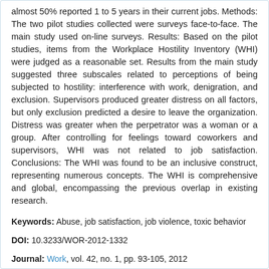almost 50% reported 1 to 5 years in their current jobs. Methods: The two pilot studies collected were surveys face-to-face. The main study used on-line surveys. Results: Based on the pilot studies, items from the Workplace Hostility Inventory (WHI) were judged as a reasonable set. Results from the main study suggested three subscales related to perceptions of being subjected to hostility: interference with work, denigration, and exclusion. Supervisors produced greater distress on all factors, but only exclusion predicted a desire to leave the organization. Distress was greater when the perpetrator was a woman or a group. After controlling for feelings toward coworkers and supervisors, WHI was not related to job satisfaction. Conclusions: The WHI was found to be an inclusive construct, representing numerous concepts. The WHI is comprehensive and global, encompassing the previous overlap in existing research.
Keywords: Abuse, job satisfaction, job violence, toxic behavior
DOI: 10.3233/WOR-2012-1332
Journal: Work, vol. 42, no. 1, pp. 93-105, 2012
Received 24 February 2010 | Accepted 26 October 2010 | Published: 2012